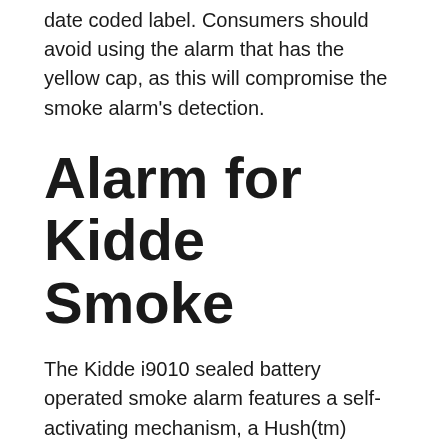date coded label. Consumers should avoid using the alarm that has the yellow cap, as this will compromise the smoke alarm’s detection.
Alarm for Kidde Smoke
The Kidde i9010 sealed battery operated smoke alarm features a self-activating mechanism, a Hush(tm) feature, and an End-of-Life alert. The alarm’s battery never needs replacement and has no pull tabs for installation. The alarm’s battery can last up to 10 years. This saves consumers money on labor and batteries. Consumers can use the smoke alarm in any room in their home for a